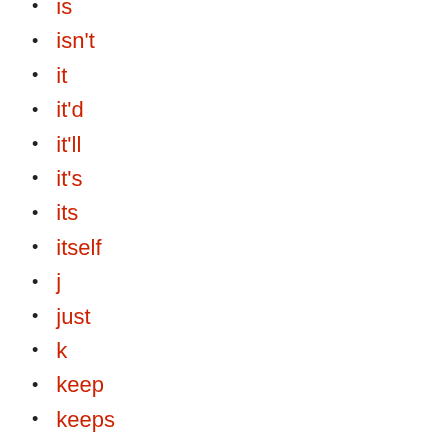is
isn't
it
it'd
it'll
it's
its
itself
j
just
k
keep
keeps